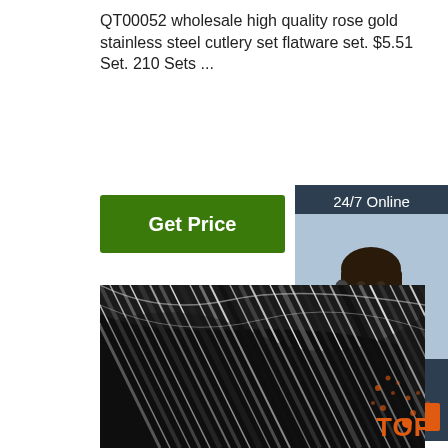QT00052 wholesale high quality rose gold stainless steel cutlery set flatware set. $5.51 Set. 210 Sets ...
[Figure (other): Green 'Get Price' button]
[Figure (other): 24/7 Online customer support sidebar with woman wearing headset, 'Click here for free chat!' text, and orange QUOTATION button]
[Figure (photo): Close-up photo of coiled stainless steel wire rods with silver and dark striped appearance]
[Figure (logo): Orange TOP badge/watermark in lower right corner]